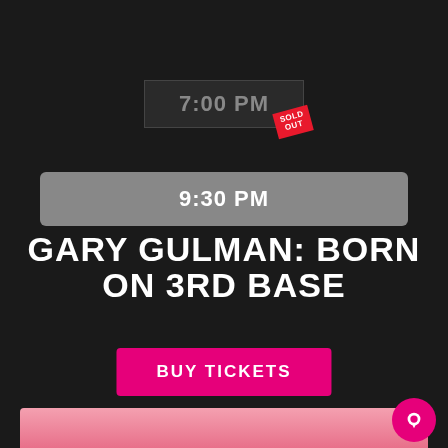7:00 PM
SOLD OUT
9:30 PM
GARY GULMAN: BORN ON 3RD BASE
BUY TICKETS
FRI  23  SEP
[Figure (photo): Bottom strip showing partial photo of performer with pink/light background]